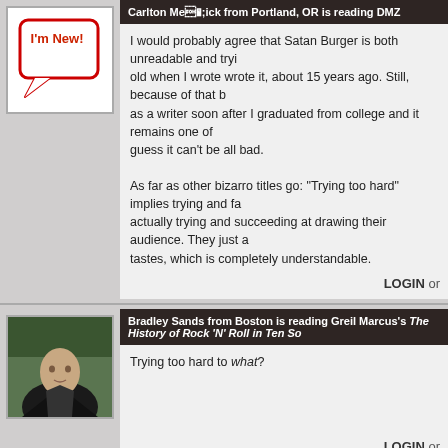Carlton Mellick from Portland, OR is reading DMZ
I would probably agree that Satan Burger is both unreadable and trying too hard. I was pretty young when I wrote wrote it, about 15 years ago. Still, because of that book I got my start as a writer soon after I graduated from college and it remains one of my best selling books, so I guess it can't be all bad.

As far as other bizarro titles go: "Trying too hard" implies trying and failing. Most bizarro authors are actually trying and succeeding at drawing their audience. They just aren't succeeding with everyone's tastes, which is completely understandable.
LOGIN or
Bradley Sands from Boston is reading Greil Marcus's The History of Rock 'N' Roll in Ten So
Trying too hard to what?
LOGIN or
Joshua Chaplinsky from New York is reading a lot more during the quarantine